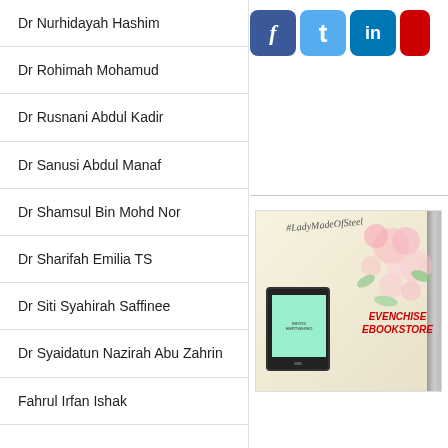Dr Nurhidayah Hashim
Dr Rohimah Mohamud
Dr Rusnani Abdul Kadir
Dr Sanusi Abdul Manaf
Dr Shamsul Bin Mohd Nor
Dr Sharifah Emilia TS
Dr Siti Syahirah Saffinee
Dr Syaidatun Nazirah Abu Zahrin
Fahrul Irfan Ishak
[Figure (screenshot): Social media icons: Facebook, Twitter, LinkedIn, and a partially visible red icon (YouTube)]
[Figure (photo): Evenchise Ebookstore advertisement showing a Kindle device and a book with #LadyMadeOfSteel hashtag, floral decoration, and red text reading EVENCHISE EBOOKSTORE]